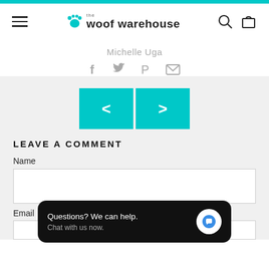[Figure (screenshot): Cyan top navigation bar of woof warehouse website]
the woof warehouse — navigation header with hamburger menu, logo, search and cart icons
Michelle Uga
[Figure (infographic): Social sharing icons: Facebook, Twitter, Pinterest, Email]
[Figure (infographic): Previous and next navigation buttons in cyan]
LEAVE A COMMENT
Name
Email
[Figure (screenshot): Chat popup with text 'Questions? We can help. Chat with us now.' and a chat bubble icon]